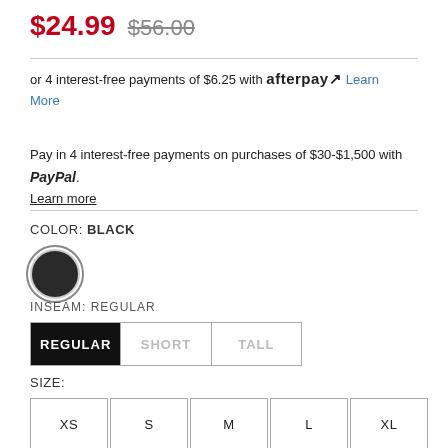$24.99  $56.00
or 4 interest-free payments of $6.25 with afterpay. Learn More
Pay in 4 interest-free payments on purchases of $30-$1,500 with PayPal. Learn more
COLOR: BLACK
[Figure (other): Black color swatch circle]
INSEAM: REGULAR
REGULAR  SHORT  TALL
SIZE:
XS  S  M  L  XL